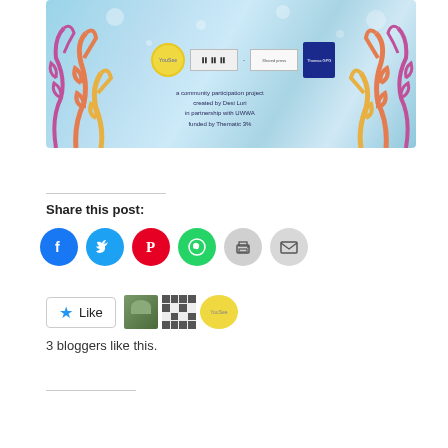[Figure (illustration): Banner image with ocean/underwater theme, coral and seaweed decorations, logos in the center, text reading 'a community participation project created by Desi Luri in partnership with UWWA funded by Thematic 3%']
Share this post:
[Figure (infographic): Row of social media icon circles: Facebook (blue), Twitter (cyan), Pinterest (red), WhatsApp (green), Print (gray), Email (gray)]
[Figure (infographic): Like button with star icon and Like text, followed by three avatar images (photo, grid pattern, yellow circle logo). Text: 3 bloggers like this.]
3 bloggers like this.